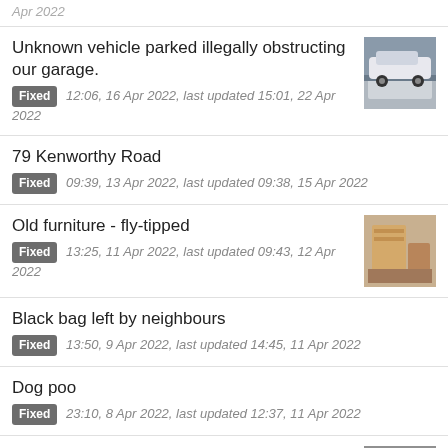Apr 2022
Unknown vehicle parked illegally obstructing our garage.
79 Kenworthy Road
Old furniture - fly-tipped
Black bag left by neighbours
Dog poo
Litter in street